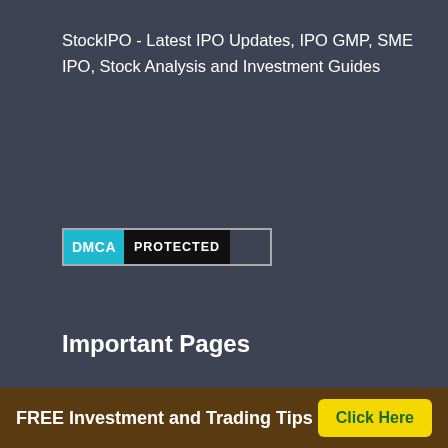StockIPO - Latest IPO Updates, IPO GMP, SME IPO, Stock Analysis and Investment Guides
[Figure (logo): DMCA Protected badge with cyan 'DMCA' on left and black 'PROTECTED' on right, outlined border]
Important Pages
Upcoming IPO 2022
IPO GMP
IPO Subscription Status
IPO Performance
IPO Forms
FREE Investment and Trading Tips  Click Here